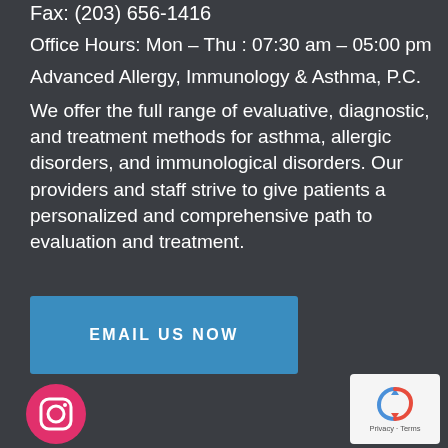Fax: (203) 656-1416
Office Hours: Mon – Thu : 07:30 am – 05:00 pm
Advanced Allergy, Immunology & Asthma, P.C.
We offer the full range of evaluative, diagnostic, and treatment methods for asthma, allergic disorders, and immunological disorders. Our providers and staff strive to give patients a personalized and comprehensive path to evaluation and treatment.
EMAIL US NOW
[Figure (logo): Instagram icon - pink/magenta circular button with Instagram camera logo]
[Figure (logo): Facebook icon - blue circular button with Facebook 'f' logo]
[Figure (logo): Advanced Allergy Immunology & Asthma logo with teal dot-pattern arc and dark text]
[Figure (other): reCAPTCHA badge with recycling arrows logo and Privacy - Terms text]